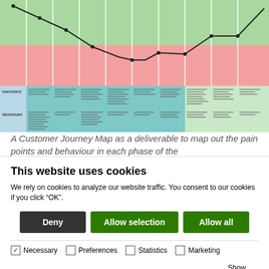[Figure (infographic): A Customer Journey Map showing pain points and behaviours across multiple phases, with a curved line chart at top in green/pink zones, and a detailed grid below with teal and light green columns for each phase showing pain points and behaviours as bullet text.]
A Customer Journey Map as a deliverable to map out the pain points and behaviour in each phase of the
This website uses cookies
We rely on cookies to analyze our website traffic. You consent to our cookies if you click “OK”.
Deny | Allow selection | Allow all
Necessary  Preferences  Statistics  Marketing  Show details